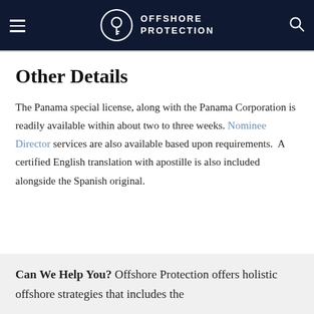OFFSHORE PROTECTION
Other Details
The Panama special license, along with the Panama Corporation is readily available within about two to three weeks. Nominee Director services are also available based upon requirements.  A certified English translation with apostille is also included alongside the Spanish original.
Can We Help You? Offshore Protection offers holistic offshore strategies that includes the